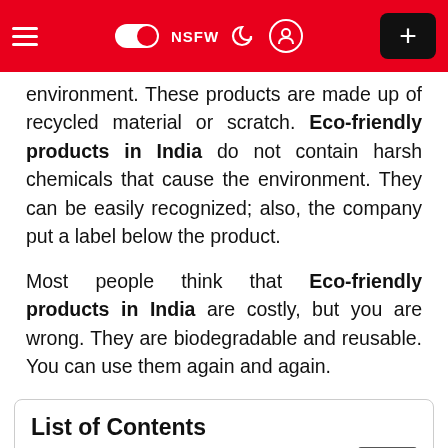≡  NSFW  ) (user icon)  +
environment. These products are made up of recycled material or scratch. Eco-friendly products in India do not contain harsh chemicals that cause the environment. They can be easily recognized; also, the company put a label below the product.
Most people think that Eco-friendly products in India are costly, but you are wrong. They are biodegradable and reusable. You can use them again and again.
List of Contents
1. List of Best-Selling Eco-Friendly Products in In…